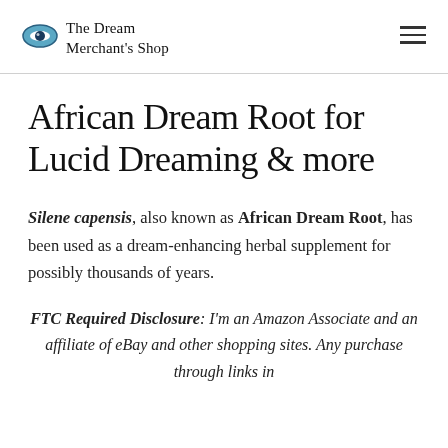The Dream Merchant's Shop
African Dream Root for Lucid Dreaming & more
Silene capensis, also known as African Dream Root, has been used as a dream-enhancing herbal supplement for possibly thousands of years.
FTC Required Disclosure: I'm an Amazon Associate and an affiliate of eBay and other shopping sites. Any purchase through links in